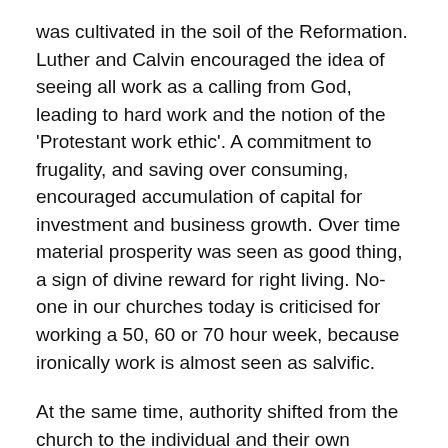was cultivated in the soil of the Reformation. Luther and Calvin encouraged the idea of seeing all work as a calling from God, leading to hard work and the notion of the 'Protestant work ethic'. A commitment to frugality, and saving over consuming, encouraged accumulation of capital for investment and business growth. Over time material prosperity was seen as good thing, a sign of divine reward for right living. No-one in our churches today is criticised for working a 50, 60 or 70 hour week, because ironically work is almost seen as salvific.
At the same time, authority shifted from the church to the individual and their own interpretation of the Bible, sowing the seeds of individualism. Over time, the liberal impulse to remove all external restraint on the freedom of the individual grew leading to a permissive society organised largely around the pleasures of consumption and sensuality. Today, we spend much of our time online looking for love, sex and stuff.